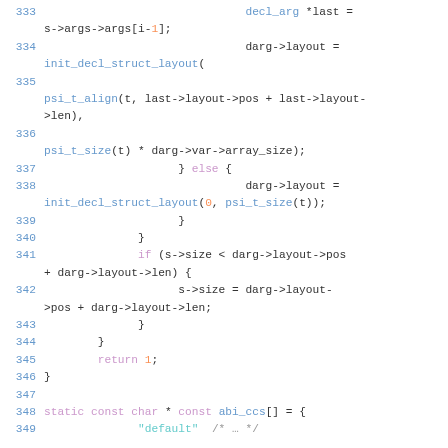[Figure (screenshot): Source code listing in a monospace font showing C code lines 333-349, with syntax highlighting: line numbers in blue, keywords in purple, function names in blue/teal, numeric literals in orange, string literals in teal.]